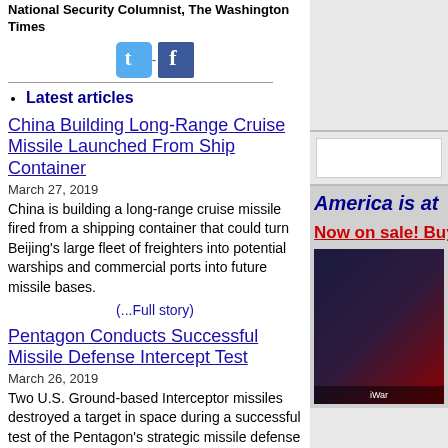National Security Columnist, The Washington Times
[Figure (illustration): Twitter and Facebook social media icons]
Latest articles
China Building Long-Range Cruise Missile Launched From Ship Container
March 27, 2019
China is building a long-range cruise missile fired from a shipping container that could turn Beijing's large fleet of freighters into potential warships and commercial ports into future missile bases.
(...Full story)
Pentagon Conducts Successful Missile Defense Intercept Test
March 26, 2019
Two U.S. Ground-based Interceptor missiles destroyed a target in space during a successful test of the Pentagon's strategic missile defense system on Monday.
(...Full story)
America is at
Now on sale! Buy
[Figure (photo): Book cover image with dark background and WiFi/device graphics]